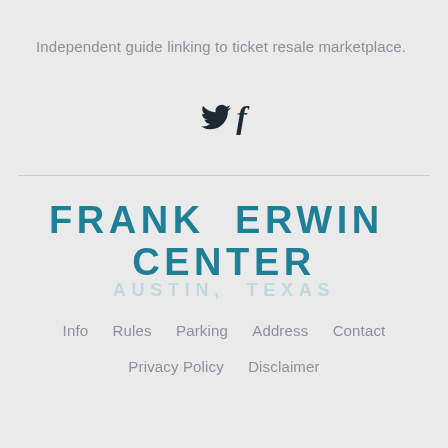Independent guide linking to ticket resale marketplace.
[Figure (illustration): Twitter bird icon and Facebook 'f' icon as social media links]
[Figure (logo): Frank Erwin Center logo — bold teal text reading 'FRANK ERWIN CENTER' with lighter 'AUSTIN, TEXAS' subtitle beneath]
Info   Rules   Parking   Address   Contact
Privacy Policy   Disclaimer